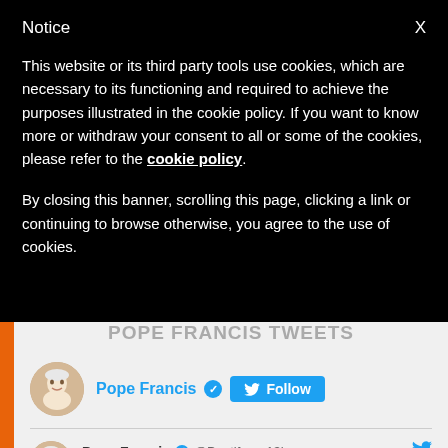Notice
This website or its third party tools use cookies, which are necessary to its functioning and required to achieve the purposes illustrated in the cookie policy. If you want to know more or withdraw your consent to all or some of the cookies, please refer to the cookie policy.
By closing this banner, scrolling this page, clicking a link or continuing to browse otherwise, you agree to the use of cookies.
POPE FRANCIS TWEETS
Pope Francis  Follow
Pope Francis @Pontifex · 13h
The mercy of God, who has made us brothers